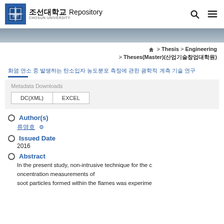조선대학교 Repository
[Figure (logo): Chosun University Repository logo with Korean text 조선대학교 and English subtitle CHOSUN UNIVERSITY]
🏠 > Thesis > Engineering > Theses(Master)(산업기술창업대학원)
화염 연소 중 발생하는 탄소입자 농도분포 측정에 관한 광학적 계측 기술 연구
Metadata Downloads
DC(XML)   EXCEL
Author(s)
류명호
Issued Date
2016
Abstract
In the present study, non-intrusive technique for the concentration measurements of soot particles formed within the flames was experime